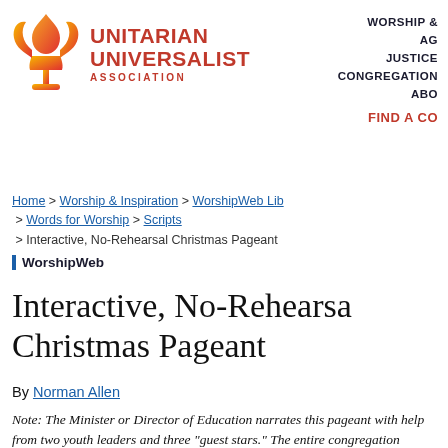[Figure (logo): Unitarian Universalist Association logo with flame chalice icon and text]
WORSHIP & | AG | JUSTICE | CONGREGATION | ABO | FIND A CO
Home > Worship & Inspiration > WorshipWeb Lib > Words for Worship > Scripts > Interactive, No-Rehearsal Christmas Pageant
WorshipWeb
Interactive, No-Rehearsal Christmas Pageant
By Norman Allen
Note: The Minister or Director of Education narrates this pageant with help from two youth leaders and three "guest stars." The entire congregation participates as prompted